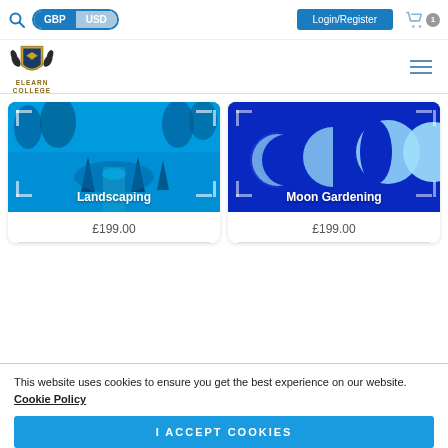GBP | USD | Login/Register | Cart (1)
[Figure (logo): Elearn College shield logo with laurel wreath and graduation cap, gold and black, with text ELEARN COLLEGE below]
[Figure (photo): Blue-tinted aerial view of formal garden/landscaping with topiaries and hedges, titled Landscaping, priced at £199.00]
[Figure (photo): Dark blue background with moon phase sequence showing crescent to full moon, titled Moon Gardening, priced at £199.00]
This website uses cookies to ensure you get the best experience on our website. Cookie Policy
I ACCEPT COOKIES